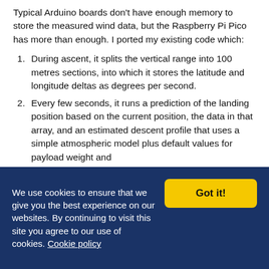Typical Arduino boards don't have enough memory to store the measured wind data, but the Raspberry Pi Pico has more than enough. I ported my existing code which:
During ascent, it splits the vertical range into 100 metres sections, into which it stores the latitude and longitude deltas as degrees per second.
Every few seconds, it runs a prediction of the landing position based on the current position, the data in that array, and an estimated descent profile that uses a simple atmospheric model plus default values for payload weight and
We use cookies to ensure that we give you the best experience on our websites. By continuing to visit this site you agree to our use of cookies. Cookie policy